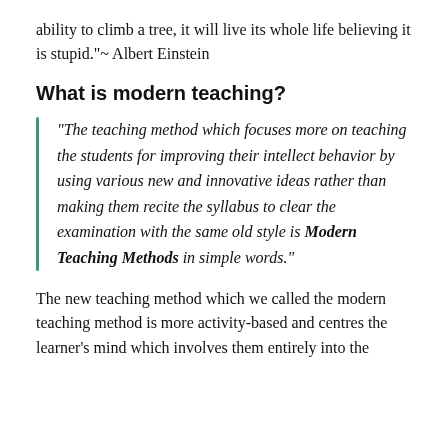ability to climb a tree, it will live its whole life believing it is stupid."~ Albert Einstein
What is modern teaching?
“The teaching method which focuses more on teaching the students for improving their intellect behavior by using various new and innovative ideas rather than making them recite the syllabus to clear the examination with the same old style is Modern Teaching Methods in simple words.”
The new teaching method which we called the modern teaching method is more activity-based and centres the learner’s mind which involves them entirely into the